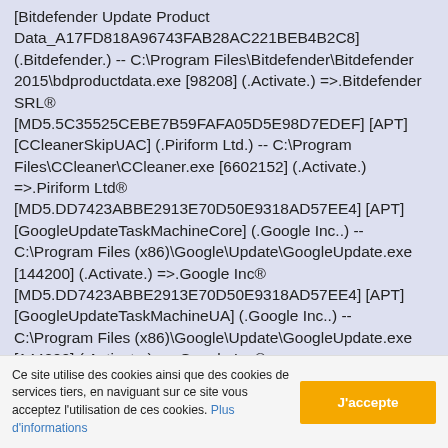[Bitdefender Update Product Data_A17FD818A96743FAB28AC221BEB4B2C8] (.Bitdefender.) -- C:\Program Files\Bitdefender\Bitdefender 2015\bdproductdata.exe [98208] (.Activate.) =>.Bitdefender SRL® [MD5.5C35525CEBE7B59FAFA05D5E98D7EDEF] [APT] [CCleanerSkipUAC] (.Piriform Ltd.) -- C:\Program Files\CCleaner\CCleaner.exe [6602152] (.Activate.) =>.Piriform Ltd® [MD5.DD7423ABBE2913E70D50E9318AD57EE4] [APT] [GoogleUpdateTaskMachineCore] (.Google Inc..) -- C:\Program Files (x86)\Google\Update\GoogleUpdate.exe [144200] (.Activate.) =>.Google Inc® [MD5.DD7423ABBE2913E70D50E9318AD57EE4] [APT] [GoogleUpdateTaskMachineUA] (.Google Inc..) -- C:\Program Files (x86)\Google\Update\GoogleUpdate.exe [144200] (.Activate.) =>.Google Inc® [MD5.0000000000000000000000000000000000] [APT] [{036FF40F-DB6C-42D5-943A-88C2CD68A585}] (...) --
Ce site utilise des cookies ainsi que des cookies de services tiers, en naviguant sur ce site vous acceptez l'utilisation de ces cookies. Plus d'informations
J'accepte